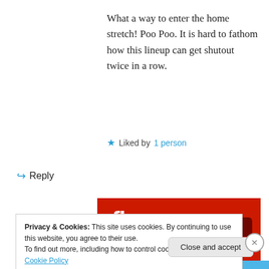What a way to enter the home stretch! Poo Poo. It is hard to fathom how this lineup can get shutout twice in a row.
★ Liked by 1 person
↪ Reply
[Figure (screenshot): Advertisement banner with red background showing a smartphone with audio app and 'Download now' button]
Privacy & Cookies: This site uses cookies. By continuing to use this website, you agree to their use.
To find out more, including how to control cookies, see here: Cookie Policy
Close and accept